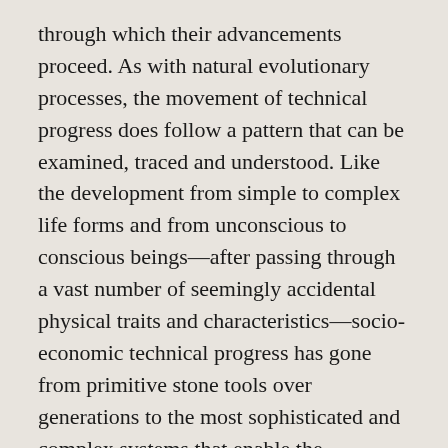through which their advancements proceed. As with natural evolutionary processes, the movement of technical progress does follow a pattern that can be examined, traced and understood. Like the development from simple to complex life forms and from unconscious to conscious beings—after passing through a vast number of seemingly accidental physical traits and characteristics—socio-economic technical progress has gone from primitive stone tools over generations to the most sophisticated and complex systems that enable the exploration of the surface of Mars and the examination of the outer reaches of the solar system and beyond. While each of the breakthroughs along this path have come about in apparent